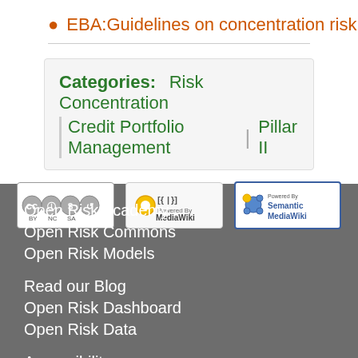EBA:Guidelines on concentration risk
Categories: Risk Concentration | Credit Portfolio Management | Pillar II
[Figure (logo): Three badges: Creative Commons BY-NC-SA license badge, Powered by MediaWiki badge, Powered by Semantic MediaWiki badge]
Open Risk Academy
Open Risk Commons
Open Risk Models
Read our Blog
Open Risk Dashboard
Open Risk Data
Accessibility
Copyright
Terms of Service
Privacy Policy